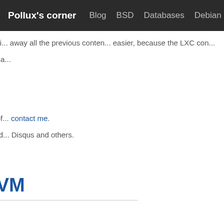Pollux's corner | Blog | BSD | Databases | Debian
I don't like the idea of installi... away all the previous conten... easier, because the LXC con...
Some of the active projects a...
nfqueue-bindings
nflog-bindings
ocaml-llvm-tutorial
The change may break all of... contact me.
Comments may be re-added... Disqus and others.
read more
•
OCaml LLVM